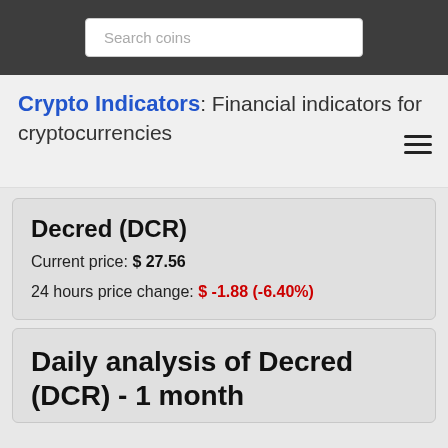Search coins
Crypto Indicators: Financial indicators for cryptocurrencies
Decred (DCR)
Current price: $ 27.56
24 hours price change: $ -1.88 (-6.40%)
Daily analysis of Decred (DCR) - 1 month